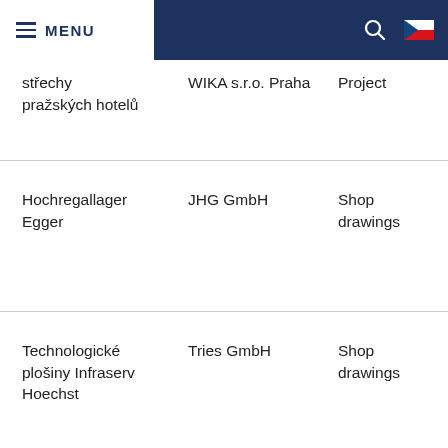MENU
střechy pražských hotelů | WIKA s.r.o. Praha | Project
Hochregallager Egger | JHG GmbH | Shop drawings
Technologické plošiny Infraserv Hoechst | Tries GmbH | Shop drawings